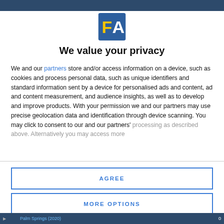[Figure (logo): FA logo — blue square background with yellow letter F and white letter A]
We value your privacy
We and our partners store and/or access information on a device, such as cookies and process personal data, such as unique identifiers and standard information sent by a device for personalised ads and content, ad and content measurement, and audience insights, as well as to develop and improve products. With your permission we and our partners may use precise geolocation data and identification through device scanning. You may click to consent to our and our partners' processing as described above. Alternatively you may access more
AGREE
MORE OPTIONS
Palm Springs (2020)